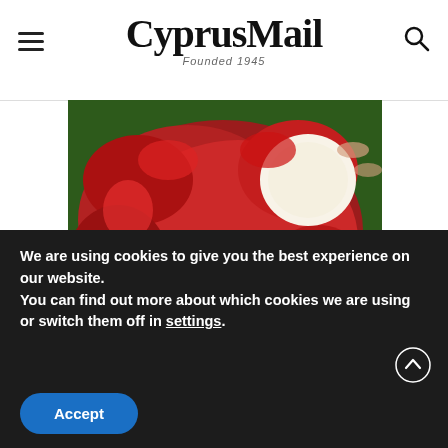CyprusMail — Founded 1945
[Figure (photo): Hand holding rambutan fruits — one whole with red spiky exterior, one peeled showing white flesh interior]
Everyone Who Believes in God Should Watch This
Exodus Effect
We are using cookies to give you the best experience on our website.
You can find out more about which cookies we are using or switch them off in settings.
Accept